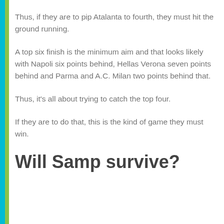Thus, if they are to pip Atalanta to fourth, they must hit the ground running.
A top six finish is the minimum aim and that looks likely with Napoli six points behind, Hellas Verona seven points behind and Parma and A.C. Milan two points behind that.
Thus, it's all about trying to catch the top four.
If they are to do that, this is the kind of game they must win.
Will Samp survive?